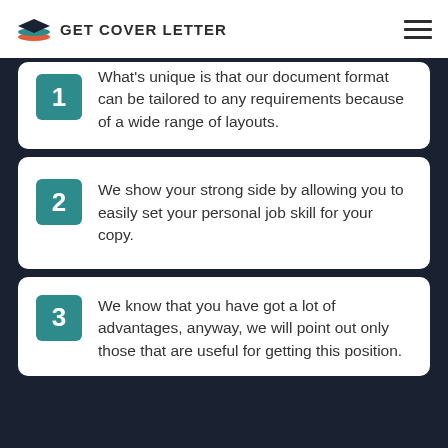GET COVER LETTER
What's unique is that our document format can be tailored to any requirements because of a wide range of layouts.
We show your strong side by allowing you to easily set your personal job skill for your copy.
We know that you have got a lot of advantages, anyway, we will point out only those that are useful for getting this position.